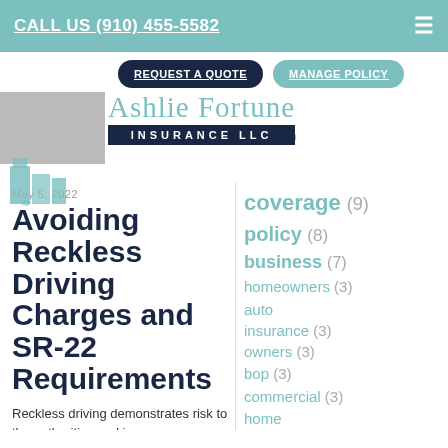CALL US (910) 455-5582
REQUEST A QUOTE   MANAGE POLICY
[Figure (logo): Ashlie Fortune Insurance LLC logo with teal building/city icon]
2020
May 5, 2022
Avoiding Reckless Driving Charges and SR-22 Requirements
Reckless driving demonstrates risk to the authorities and insurance companies. Reckless driving may
coverage (9)
policy (8)
business (7)
homeowners (3)
auto insurance (3)
owners (3)
bop (3)
commercial (3)
home insurance (3)
life (2)  terms (2)
workers (2)
retirement (2)